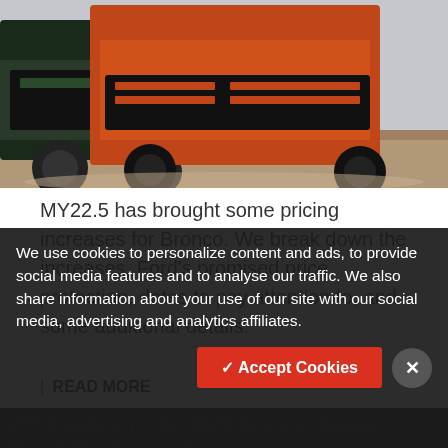[Figure (photo): Two Ford Bronco trucks photographed from the front, one green/black and one orange/red, on a snowy/muddy terrain. The lower portion shows a dark overlay section with article title text partially visible.]
MY22.5 has brought some pricing increases for Bronco. We break down the increases, Ford's promised price protection, dates to pay attention to, and some additional details.
| READ MORE
Off-Roading in the 2022 Bronco Raptor – Durability Testing Part
We use cookies to personalize content and ads, to provide social media features and to analyse our traffic. We also share information about your use of our site with our social media, advertising and analytics affiliates.
✓ Accept Cookies
March 1, 2022  🗨 0